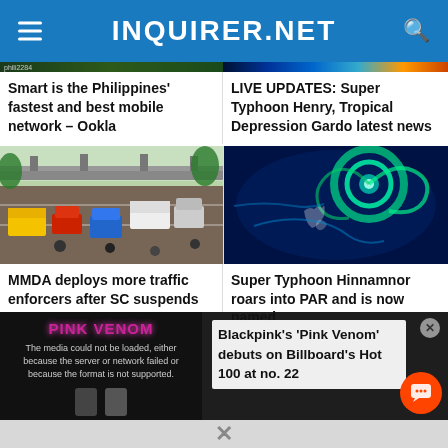INQUIRER.NET
Smart is the Philippines' fastest and best mobile network – Ookla
LIVE UPDATES: Super Typhoon Henry, Tropical Depression Gardo latest news
[Figure (photo): Manila traffic jam with buses, cars, motorcycles on a busy urban road with overpass]
[Figure (photo): Satellite typhoon map showing spiral storm system approaching the Philippines]
MMDA deploys more traffic enforcers after SC suspends NCAP
Super Typhoon Hinnamnor roars into PAR and is now named
[Figure (screenshot): Video player showing Pink Venom music video with error message: The media could not be loaded, either because the server or network failed or because the format is not supported.]
Blackpink's 'Pink Venom' debuts on Billboard's Hot 100 at no. 22